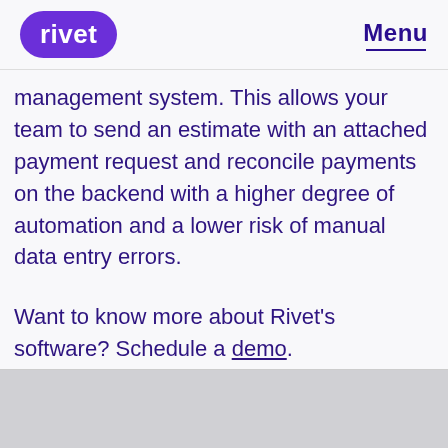rivet | Menu
management system. This allows your team to send an estimate with an attached payment request and reconcile payments on the backend with a higher degree of automation and a lower risk of manual data entry errors.
Want to know more about Rivet's software? Schedule a demo.